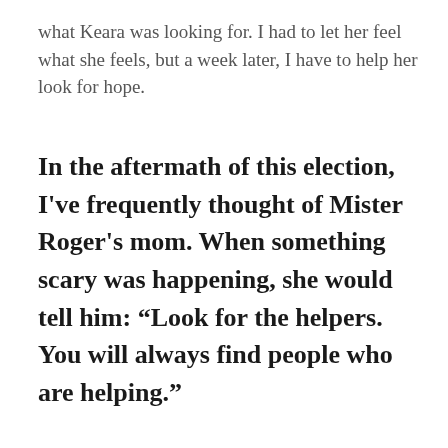what Keara was looking for. I had to let her feel what she feels, but a week later, I have to help her look for hope.
In the aftermath of this election, I've frequently thought of Mister Roger's mom. When something scary was happening, she would tell him: “Look for the helpers. You will always find people who are helping.”